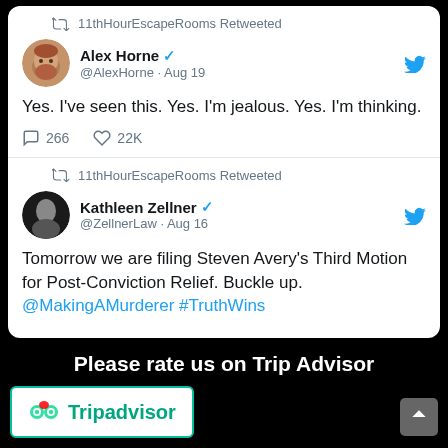11thHourEscapeRooms Retweeted
Alex Horne @AlexHorne · Aug 19
Yes. I've seen this. Yes. I'm jealous. Yes. I'm thinking.
266 comments, 22K likes
11thHourEscapeRooms Retweeted
Kathleen Zellner @ZellnerLaw · Aug 16
Tomorrow we are filing Steven Avery's Third Motion for Post-Conviction Relief. Buckle up. @MakingAMurderer #TruthWins
Please rate us on Trip Advisor
[Figure (logo): Tripadvisor logo with owl icon]